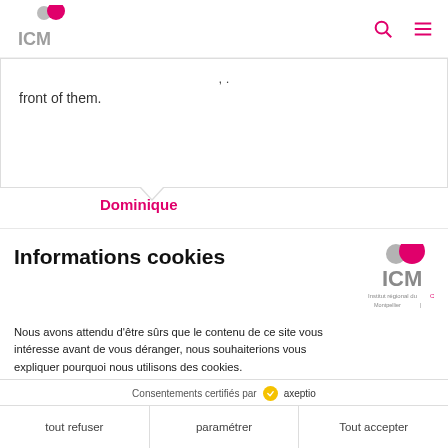[Figure (logo): ICM Institut régional du Cancer Montpellier logo with pink/grey circles]
front of them.
Dominique
Informations cookies
Nous avons attendu d'être sûrs que le contenu de ce site vous intéresse avant de vous déranger, nous souhaiterions vous expliquer pourquoi nous utilisons des cookies.
Sur ce site, nous utilisons des cookies pour mesurer notre audience via Google Analytics. Mais nous ne stockons pas de données personnelles.
Consentements certifiés par axeptio
tout refuser
paramétrer
Tout accepter